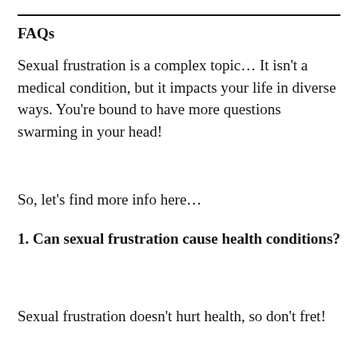FAQs
Sexual frustration is a complex topic… It isn't a medical condition, but it impacts your life in diverse ways. You're bound to have more questions swarming in your head!
So, let's find more info here…
1. Can sexual frustration cause health conditions?
Sexual frustration doesn't hurt health, so don't fret!